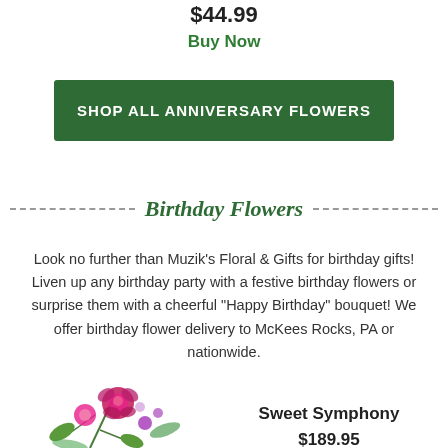$44.99
Buy Now
SHOP ALL ANNIVERSARY FLOWERS
Birthday Flowers
Look no further than Muzik's Floral & Gifts for birthday gifts! Liven up any birthday party with a festive birthday flowers or surprise them with a cheerful "Happy Birthday" bouquet! We offer birthday flower delivery to McKees Rocks, PA or nationwide.
[Figure (photo): Pink and red flower bouquet arrangement at bottom left corner]
Sweet Symphony
$189.95